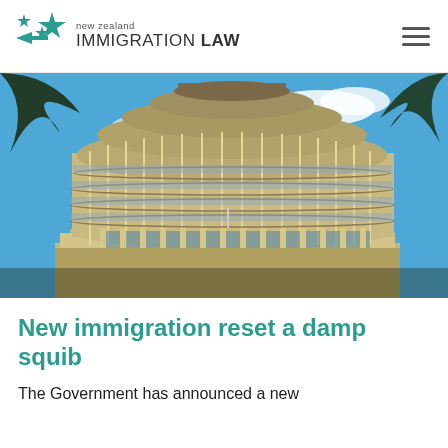new zealand IMMIGRATION LAW
[Figure (photo): Photograph of the Beehive (New Zealand Parliament Executive Wing) in Wellington, a distinctive circular multi-storey building with horizontal band windows and colonnaded base, photographed against a bright blue sky with tree branches in corners.]
New immigration reset a damp squib
The Government has announced a new